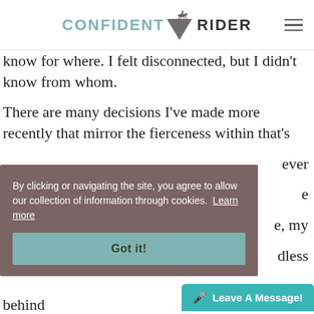CONFIDENT RIDER
know for where. I felt disconnected, but I didn't know from whom.
There are many decisions I've made more recently that mirror the fierceness within that's ever e, my dless behind
By clicking or navigating the site, you agree to allow our collection of information through cookies. Learn more
Got it!
Leave A Message!